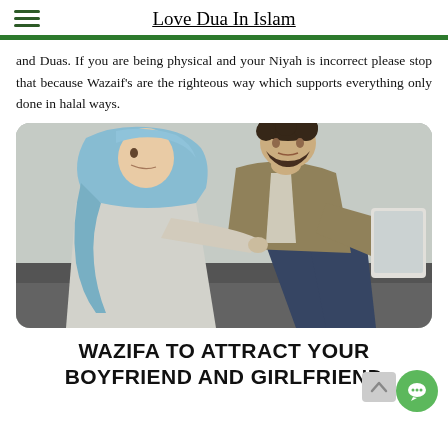Love Dua In Islam
and Duas. If you are being physical and your Niyah is incorrect please stop that because Wazaif’s are the righteous way which supports everything only done in halal ways.
[Figure (photo): A woman wearing a light blue hijab and a man with curly dark hair and beard sitting together, looking at a tablet device. The woman is touching the man's arm. They appear to be in a casual, comfortable setting.]
WAZIFA TO ATTRACT YOUR BOYFRIEND AND GIRLFRIEND